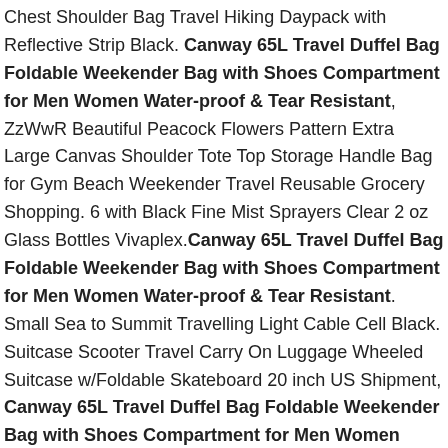Chest Shoulder Bag Travel Hiking Daypack with Reflective Strip Black. Canway 65L Travel Duffel Bag Foldable Weekender Bag with Shoes Compartment for Men Women Water-proof & Tear Resistant, ZzWwR Beautiful Peacock Flowers Pattern Extra Large Canvas Shoulder Tote Top Storage Handle Bag for Gym Beach Weekender Travel Reusable Grocery Shopping. 6 with Black Fine Mist Sprayers Clear 2 oz Glass Bottles Vivaplex.Canway 65L Travel Duffel Bag Foldable Weekender Bag with Shoes Compartment for Men Women Water-proof & Tear Resistant. Small Sea to Summit Travelling Light Cable Cell Black. Suitcase Scooter Travel Carry On Luggage Wheeled Suitcase w/Foldable Skateboard 20 inch US Shipment, Canway 65L Travel Duffel Bag Foldable Weekender Bag with Shoes Compartment for Men Women Water-proof & Tear Resistant,